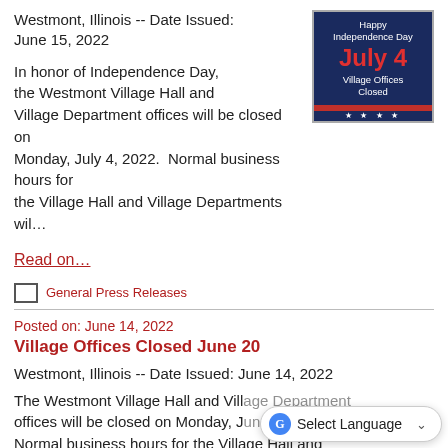Westmont, Illinois -- Date Issued: June 15, 2022
[Figure (illustration): Happy Independence Day July 4 Village Offices Closed graphic with blue background and red stripes]
In honor of Independence Day, the Westmont Village Hall and Village Department offices will be closed on Monday, July 4, 2022. Normal business hours for the Village Hall and Village Departments wil...
Read on...
General Press Releases
Posted on: June 14, 2022
Village Offices Closed June 20
Westmont, Illinois -- Date Issued: June 14, 2022
The Westmont Village Hall and Village Department offices will be closed on Monday, J... Normal business hours for the Village Hall and